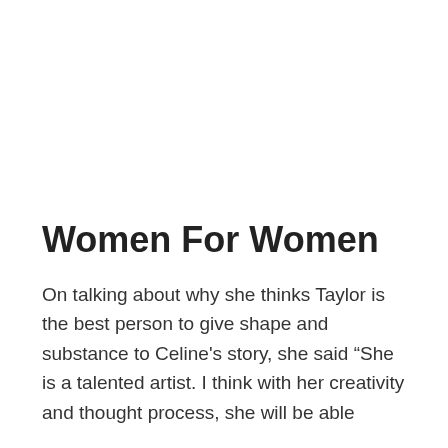Women For Women
On talking about why she thinks Taylor is the best person to give shape and substance to Celine's story, she said “She is a talented artist. I think with her creativity and thought process, she will be able